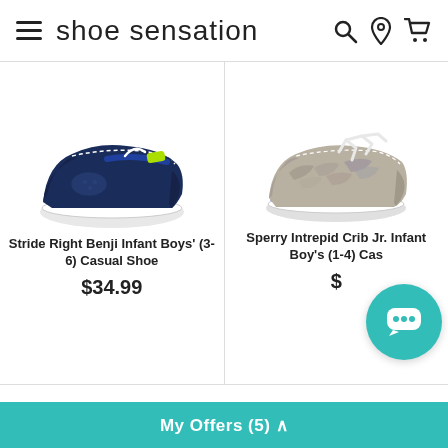shoe sensation
[Figure (photo): Navy blue infant boat shoe (Stride Right Benji) with white sole and lime green accent]
Stride Right Benji Infant Boys' (3-6) Casual Shoe
$34.99
[Figure (photo): Gray/beige infant boat shoe (Sperry Intrepid Crib Jr.) with white laces and blue stripe on sole]
Sperry Intrepid Crib Jr. Infant Boy's (1-4) Cas...
$...
My Offers (5) ^